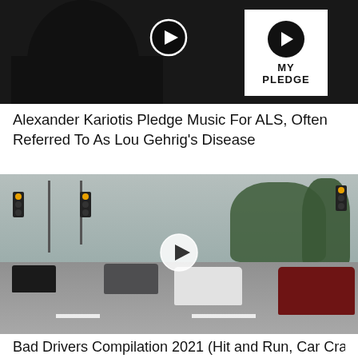[Figure (photo): Video thumbnail showing a person with long dark hair wearing a black shirt against a dark background, with a white 'MY PLEDGE' sign and a play button overlay]
Alexander Kariotis Pledge Music For ALS, Often Referred To As Lou Gehrig's Disease
[Figure (photo): Video thumbnail showing a dashcam view of a car crash/bad drivers compilation, street intersection with traffic lights, multiple cars including a white car and dark red SUV, play button overlay]
Bad Drivers Compilation 2021 (Hit and Run, Car Crash &